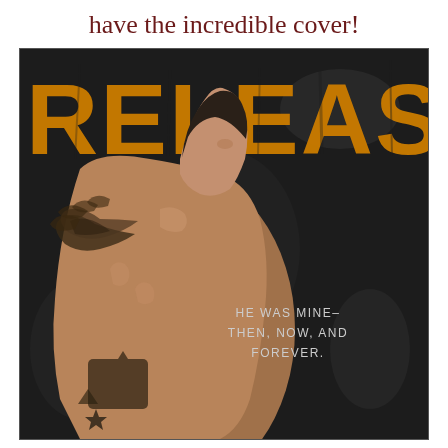have the incredible cover!
[Figure (illustration): Book cover for 'RELEASE' — dark grungy background with large orange distressed 'RELEASE' text at top, a shirtless tattooed man with wing tattoo on back looking over his shoulder, tagline reads 'HE WAS MINE— THEN, NOW, AND FOREVER.']